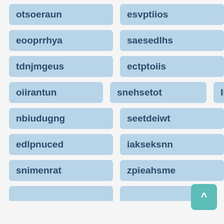otsoeraun
esvptiios
eooprrhya
saesedlhs
tdnjmgeus
ectptoiis
oiirantun
snehsetot
libuifane
nbiudugng
seetdeiwt
edlpnuced
iakseksnn
snimenrat
zpieahsme